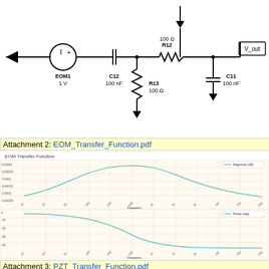[Figure (circuit-diagram): EOM circuit schematic with voltage source EOM1 1V, capacitor C12 100nF, resistors R13 100Ω and R12 100Ω, capacitor C11 100nF, and V_out terminal with ground symbols]
Attachment 2: EOM_Transfer_Function.pdf
EOM Transfer Function
[Figure (continuous-plot): EOM Transfer Function magnitude plot - bell-shaped curve peaking in mid-frequency range, x-axis: Frequency, y-axis: magnitude (dB scale)]
[Figure (continuous-plot): EOM Transfer Function phase plot - S-shaped phase curve decreasing from ~0 to ~-40, x-axis: Frequency, y-axis: Phase]
Attachment 3: PZT_Transfer_Function.pdf